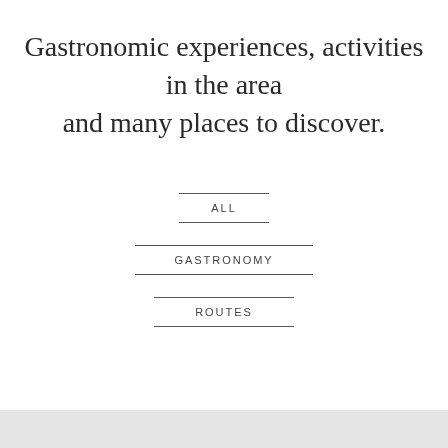Gastronomic experiences, activities in the area and many places to discover.
ALL
GASTRONOMY
ROUTES